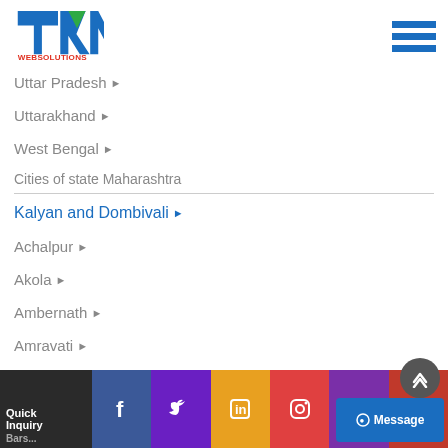[Figure (logo): TRIM WEBSOLUTIONS logo with blue, green, red triangular shapes and red text WEBSOLUTIONS]
Uttar Pradesh ▶
Uttarakhand ▶
West Bengal ▶
Cities of state Maharashtra
Kalyan and Dombivali ▶
Achalpur ▶
Akola ▶
Ambernath ▶
Amravati ▶
Aurangabad ▶
Badlapur ▶
Quick Inquiry
Barshi ▶